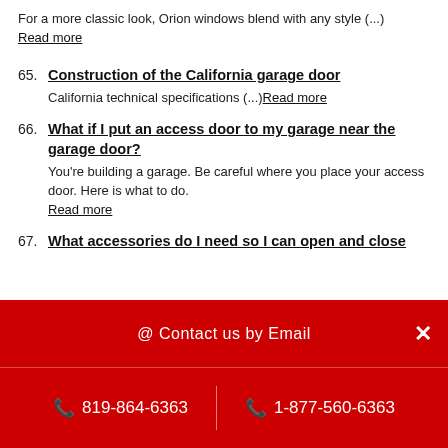For a more classic look, Orion windows blend with any style (...)
Read more
65. Construction of the California garage door
California technical specifications (...)Read more
66. What if I put an access door to my garage near the garage door?
You're building a garage. Be careful where you place your access door. Here is what to do.
Read more
67. What accessories do I need so I can open and close
@ Contact us by Email  ×  819-864-6363  |  1-877-560-6363